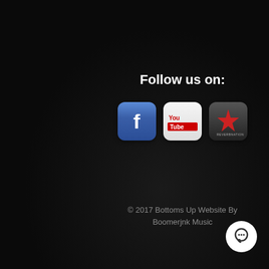Follow us on:
[Figure (logo): Three social media icons: Facebook (blue rounded square with white f), YouTube (white/red rounded square with YouTube text), ReverbNation (dark rounded square with red star)]
© 2017 Bottoms Up Website By Boomerjnk Music
[Figure (other): White circular chat/message button in bottom right corner]